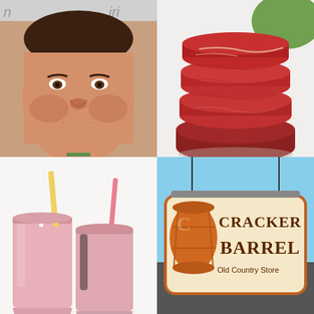[Figure (photo): Close-up photo of Emeril Lagasse, a middle-aged man with dark hair wearing a white chef's coat]
Emeril Lagasse Basically Vanished And It's Really No Secret Why
[Figure (photo): Stack of raw red meat slices on a white background]
Ever Wonder Why Aldi's Meat Is So Suspiciously Cheap?
[Figure (photo): Two glasses of pink smoothie with straws on a white background]
A Quick & Tasty Smoothie For More
[Figure (photo): Cracker Barrel Old Country Store sign, orange and cream colored with a barrel illustration, hanging outdoors]
Cracker Barrel's Newest Menu Item